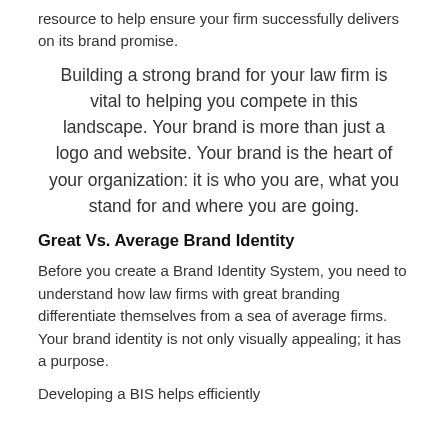resource to help ensure your firm successfully delivers on its brand promise.
Building a strong brand for your law firm is vital to helping you compete in this landscape. Your brand is more than just a logo and website. Your brand is the heart of your organization: it is who you are, what you stand for and where you are going.
Great Vs. Average Brand Identity
Before you create a Brand Identity System, you need to understand how law firms with great branding differentiate themselves from a sea of average firms. Your brand identity is not only visually appealing; it has a purpose.
Developing a BIS helps efficiently